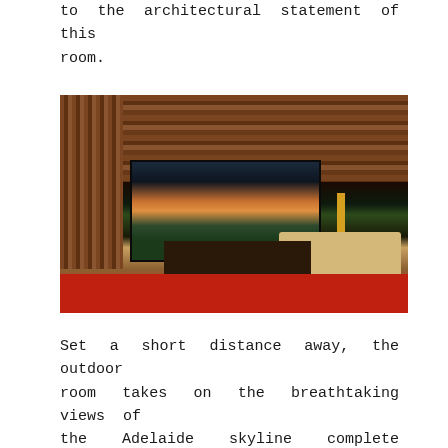to the architectural statement of this room.
[Figure (photo): Interior photograph of a modern luxury living room with wood-paneled ceiling and walls, open glass doors revealing an outdoor area with Adelaide skyline at sunset, cream sofa on the right, red sofa in the foreground, dark coffee table in center, and a floor lamp.]
Set a short distance away, the outdoor room takes on the breathtaking views of the Adelaide skyline complete with a well equipped outdoor kitchen and luxurious